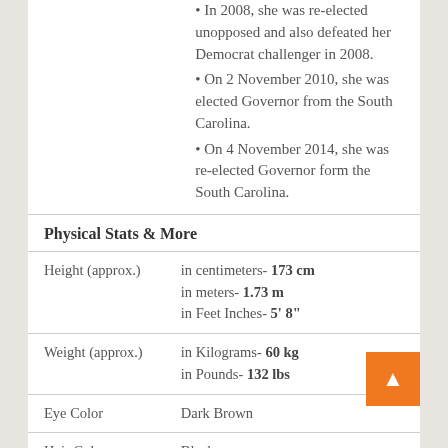In 2008, she was re-elected unopposed and also defeated her Democrat challenger in 2008.
On 2 November 2010, she was elected Governor from the South Carolina.
On 4 November 2014, she was re-elected Governor form the South Carolina.
Physical Stats & More
|  |  |
| --- | --- |
| Height (approx.) | in centimeters- 173 cm
in meters- 1.73 m
in Feet Inches- 5' 8" |
| Weight (approx.) | in Kilograms- 60 kg
in Pounds- 132 lbs |
| Eye Color | Dark Brown |
| Hair Color | Black |